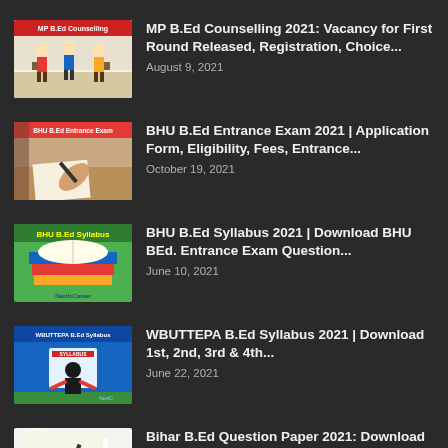MP B.Ed Counselling 2021: Vacancy for First Round Released, Registration, Choice...
August 9, 2021
BHU B.Ed Entrance Exam 2021 | Application Form, Eligibility, Fees, Entrance...
October 19, 2021
BHU B.Ed Syllabus 2021 | Download BHU BEd. Entrance Exam Question...
June 10, 2021
WBUTTEPA B.Ed Syllabus 2021 | Download 1st, 2nd, 3rd & 4th...
June 22, 2021
Bihar B.Ed Question Paper 2021: Download Previous Year Question Paper 2020,2019,...